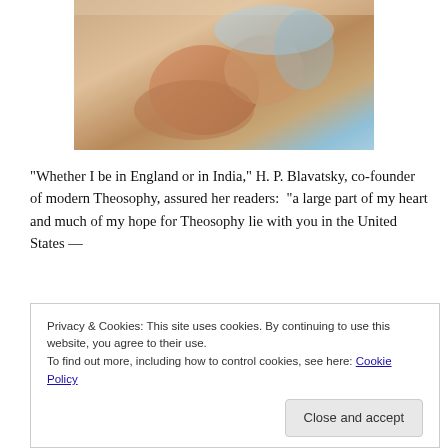[Figure (photo): A photo of people, partially visible at the top of the page, appearing to show adults and a child in close proximity.]
“Whether I be in England or in India,” H. P. Blavatsky, co-founder of modern Theosophy, assured her readers:  “a large part of my heart and much of my hope for Theosophy lie with you in the United States —
… your great country which I love so much for its noble freedom — where the Theosophical Society was founded, and of which country I myself am
Privacy & Cookies: This site uses cookies. By continuing to use this website, you agree to their use.
To find out more, including how to control cookies, see here: Cookie Policy
Close and accept